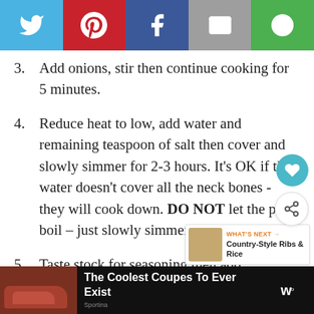[Figure (screenshot): Social share bar with Twitter, Pinterest, Facebook, Email, and other sharing icons]
3. Add onions, stir then continue cooking for 5 minutes.
4. Reduce heat to low, add water and remaining teaspoon of salt then cover and slowly simmer for 2-3 hours. It's OK if the water doesn't cover all the neck bones - they will cook down. DO NOT let the pot boil – just slowly simmer.
5. Taste stock for seasoning then add
[Figure (screenshot): What's Next promo box showing Country-Style Ribs & Rice]
[Figure (screenshot): Bottom advertisement bar: The Coolest Coupes To Ever Exist, Sportina]